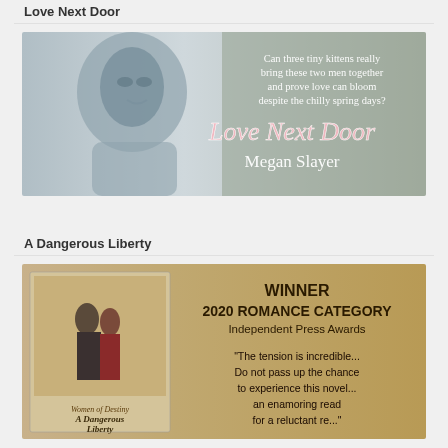Love Next Door
[Figure (illustration): Book banner for 'Love Next Door' by Megan Slayer. Shows a man's face on the left in a washed-out blue-gray tone. Text on the right reads: 'Can three tiny kittens really bring these two men together and prove love can bloom despite the chilly spring days?' Below is the title 'Love Next Door' in large pink stylized text and the author name 'Megan Slayer' in white.]
A Dangerous Liberty
[Figure (illustration): Book banner for 'A Dangerous Liberty' (Women of Destiny series). Shows a couple in period dress on the left. Right side has gold/tan background with text: 'WINNER 2020 ROMANCE CATEGORY Independent Press Awards' and quote 'The tension is incredible... Do not pass up the chance to experience this novel... an enamoring read']